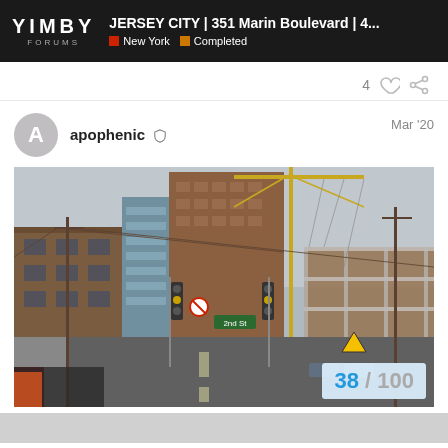YIMBY FORUMS | JERSEY CITY | 351 Marin Boulevard | 4... | New York | Completed
4 ♡ 🔗
apophenic 🛡 Mar '20
[Figure (photo): Street-level photo looking down a city block in Jersey City. Older brick buildings line the left side. A tall residential tower clad in brown/red brick is visible in the center background. To the right, a building under construction with scaffolding and a tower crane. Traffic signals at an intersection showing yellow/green, a street sign reading '2nd St', a no-turn sign, and utility poles with wires overhead. Overcast sky.]
38 / 100